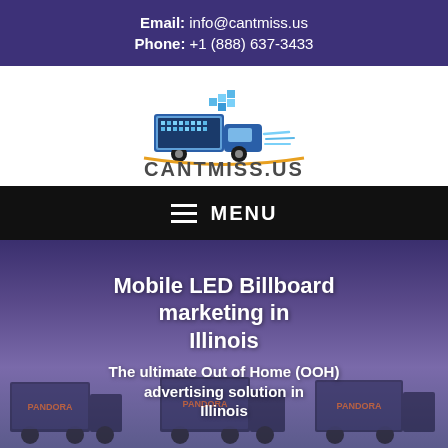Email: info@cantmiss.us
Phone: +1 (888) 637-3433
[Figure (logo): CantMiss.US logo: truck with LED billboard display and pixel art squares, orange arc underneath, text CANTMISS.US]
MENU
Mobile LED Billboard marketing in Illinois
The ultimate Out of Home (OOH) advertising solution in Illinois